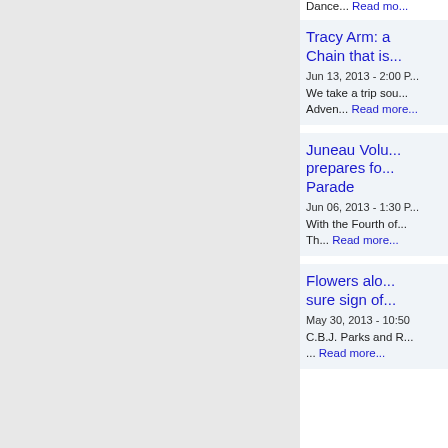Dance... Read mo...
Tracy Arm: a Chain that is...
Jun 13, 2013 - 2:00 P...
We take a trip sou... Adven... Read more...
Juneau Volu... prepares fo... Parade
Jun 06, 2013 - 1:30 P...
With the Fourth of... Th... Read more...
Flowers alo... sure sign of...
May 30, 2013 - 10:50
C.B.J. Parks and R... ... Read more...